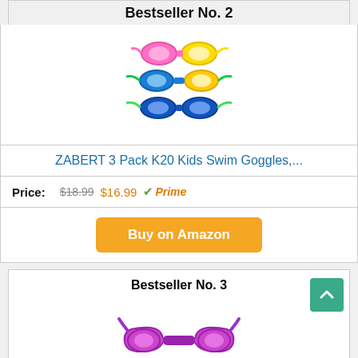Bestseller No. 2
[Figure (photo): Stack of 3 colorful kids swim goggles (pink/yellow, blue/yellow, blue/green)]
ZABERT 3 Pack K20 Kids Swim Goggles,...
Price: $18.99  $16.99  Prime
Buy on Amazon
Bestseller No. 3
[Figure (photo): Purple and pink kids swim goggles (Speedo Skoogle)]
Speedo Unisex-Child Swim Goggles Skoogle...